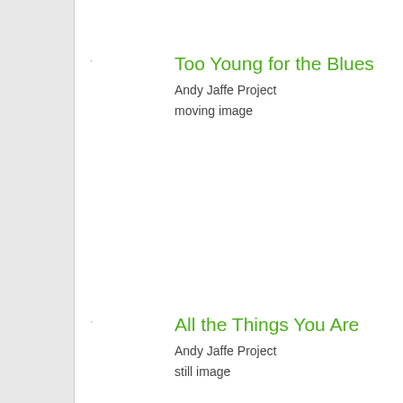Too Young for the Blues
Andy Jaffe Project
moving image
All the Things You Are
Andy Jaffe Project
still image
Williams Makes Jazz!
Andy Jaffe Project
still image
The Jewish Connection
Andy Jaffe Project
still image